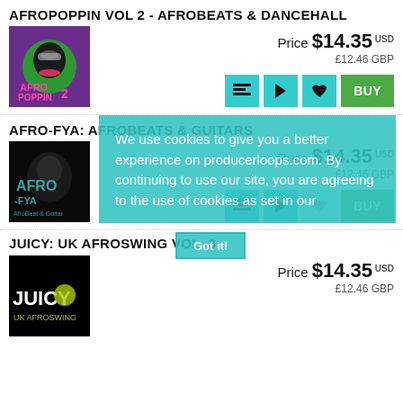AFROPOPPIN VOL 2 - AFROBEATS & DANCEHALL
Price $14.35 USD £12.46 GBP
[Figure (photo): Afropoppin Vol 2 album cover - person with sunglasses on green/purple background]
AFRO-FYA: AFROBEATS & GUITARS
Price $14.35 USD £12.46 GBP
[Figure (photo): Afro-Fya album cover - dark figure with teal text overlay]
We use cookies to give you a better experience on producerloops.com. By continuing to use our site, you are agreeing to the use of cookies as set in our
JUICY: UK AFROSWING VOL. 3
Got it!
Price $14.35 USD £12.46 GBP
[Figure (photo): Juicy UK Afroswing Vol 3 album cover - black and yellow design]